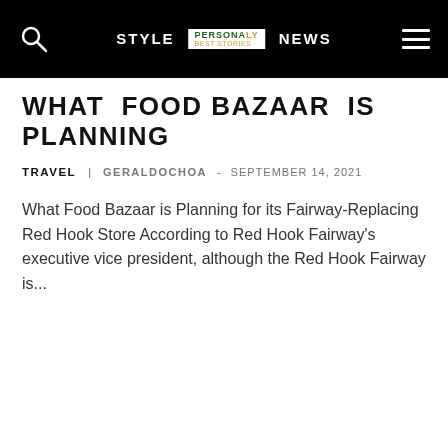STYLE  NEWS
WHAT FOOD BAZAAR IS PLANNING
TRAVEL  GERALDOCHOA - SEPTEMBER 14, 2021
What Food Bazaar is Planning for its Fairway-Replacing Red Hook Store According to Red Hook Fairway's executive vice president, although the Red Hook Fairway is...